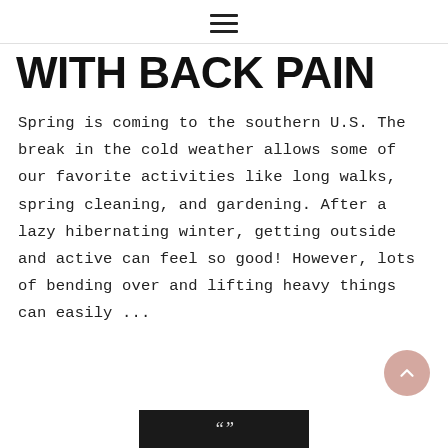≡
WITH BACK PAIN
Spring is coming to the southern U.S. The break in the cold weather allows some of our favorite activities like long walks, spring cleaning, and gardening. After a lazy hibernating winter, getting outside and active can feel so good! However, lots of bending over and lifting heavy things can easily ...
[Figure (photo): Dark/black image banner at the bottom of the page with partial text or logo visible]